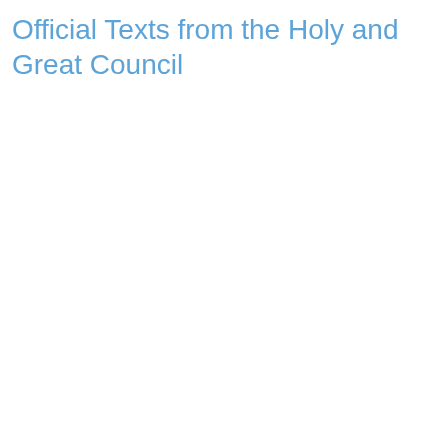Official Texts from the Holy and Great Council